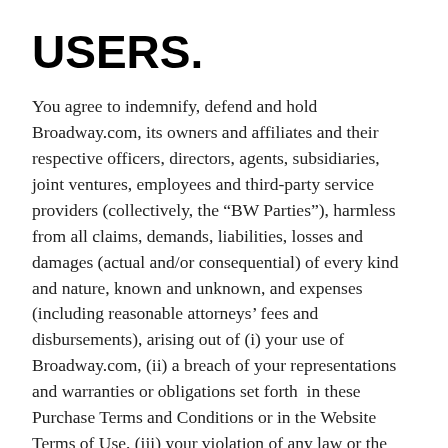USERS.
You agree to indemnify, defend and hold Broadway.com, its owners and affiliates and their respective officers, directors, agents, subsidiaries, joint ventures, employees and third-party service providers (collectively, the “BW Parties”), harmless from all claims, demands, liabilities, losses and damages (actual and/or consequential) of every kind and nature, known and unknown, and expenses (including reasonable attorneys’ fees and disbursements), arising out of (i) your use of Broadway.com, (ii) a breach of your representations and warranties or obligations set forth in these Purchase Terms and Conditions or in the Website Terms of Use, (iii) your violation of any law or the rights of a third-party; or (iv) the infringement or misuse by any other user of your account or information, data, or other content after